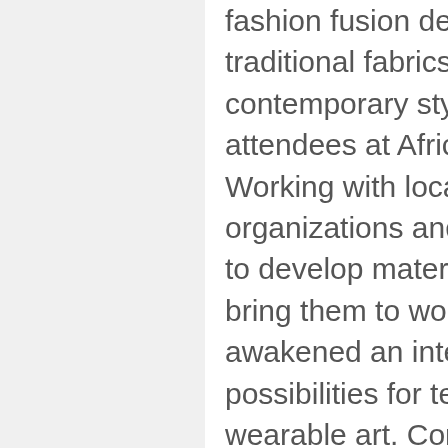fashion fusion delight. Melding traditional fabrics and designs with contemporary styles, she thrilled the attendees at African Fashion Week. Working with local native organizations and individuals in Africa to develop materials for fashion and bring them to world attention, has awakened an intense interest in new possibilities for textiles, design, and wearable art. Come out and see and hear about new trends in fashion and its effect direct from the source!